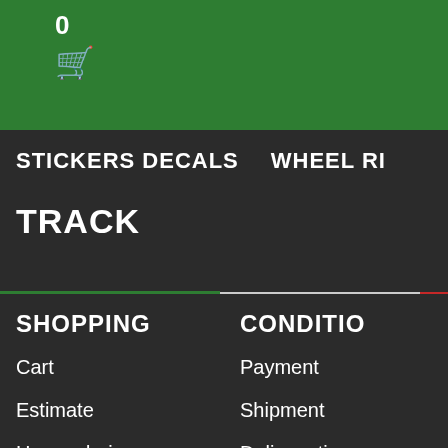0 (cart icon)
STICKERS DECALS   WHEEL RI
TRACK
SHOPPING
CONDITIO
Cart
Payment
Estimate
Shipment
How ordering
Delivery tim